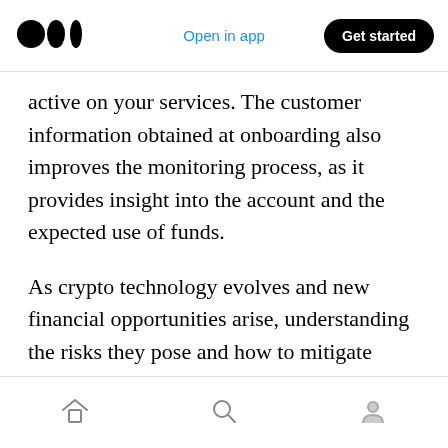Open in app | Get started
active on your services. The customer information obtained at onboarding also improves the monitoring process, as it provides insight into the account and the expected use of funds.
As crypto technology evolves and new financial opportunities arise, understanding the risks they pose and how to mitigate those risks are fundamental to gaining acceptance from regulators and investors. Implementing robust steps to know your customer will go far in
Home | Search | Profile